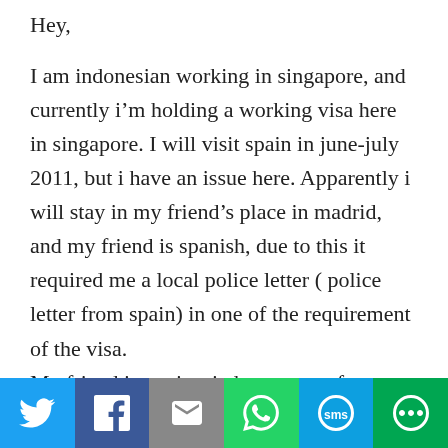Hey,
I am indonesian working in singapore, and currently i’m holding a working visa here in singapore. I will visit spain in june-july 2011, but i have an issue here. Apparently i will stay in my friend’s place in madrid, and my friend is spanish, due to this it required me a local police letter ( police letter from spain) in one of the requirement of the visa.
My friend in spain tried to get one from me, but it was even more complicated, the local police told my friend that i might need to get a ‘letter in